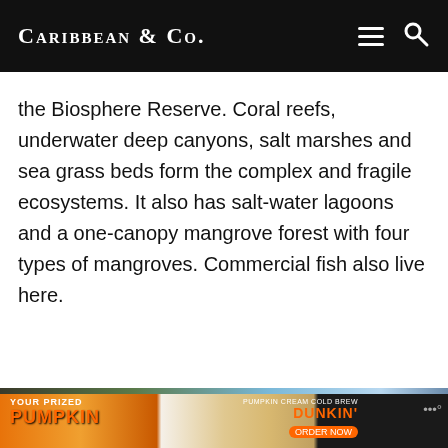Caribbean & Co.
the Biosphere Reserve. Coral reefs, underwater deep canyons, salt marshes and sea grass beds form the complex and fragile ecosystems. It also has salt-water lagoons and a one-canopy mangrove forest with four types of mangroves. Commercial fish also live here.
[Figure (photo): Tropical landscape with palm trees and blue sky]
Caribbean & Co. use cookies to ensure that we give you the best experience on our website.
[Figure (other): Dunkin' advertisement: YOUR PRIZED PUMPKIN, PUMPKIN CREAM COLD BREW, ORDER NOW]